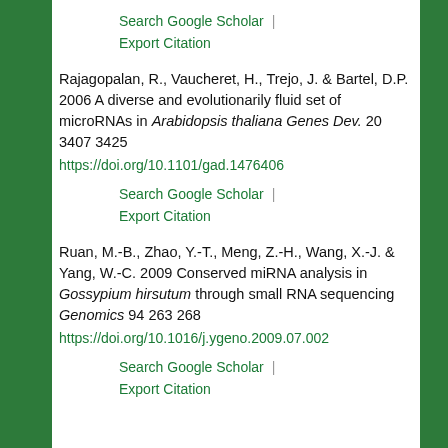Search Google Scholar | Export Citation
Rajagopalan, R., Vaucheret, H., Trejo, J. & Bartel, D.P. 2006 A diverse and evolutionarily fluid set of microRNAs in Arabidopsis thaliana Genes Dev. 20 3407 3425 https://doi.org/10.1101/gad.1476406
Search Google Scholar | Export Citation
Ruan, M.-B., Zhao, Y.-T., Meng, Z.-H., Wang, X.-J. & Yang, W.-C. 2009 Conserved miRNA analysis in Gossypium hirsutum through small RNA sequencing Genomics 94 263 268 https://doi.org/10.1016/j.ygeno.2009.07.002
Search Google Scholar | Export Citation